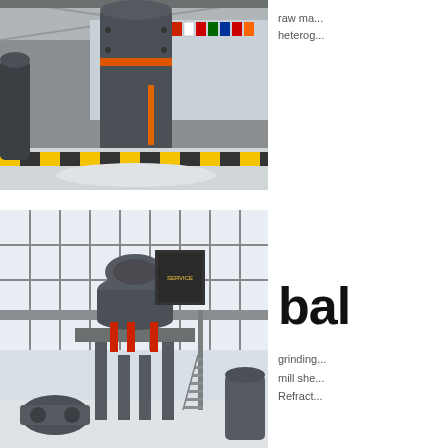[Figure (photo): Industrial grinding mill equipment in a large factory hall with yellow-black hazard striping on the floor and international flags in the background]
raw ma...
heterog...
[Figure (photo): Large cone crusher or ball mill industrial equipment on a raised platform with metal staircase in a modern factory building with large windows]
bal
grinding...
mill she...
Refract...